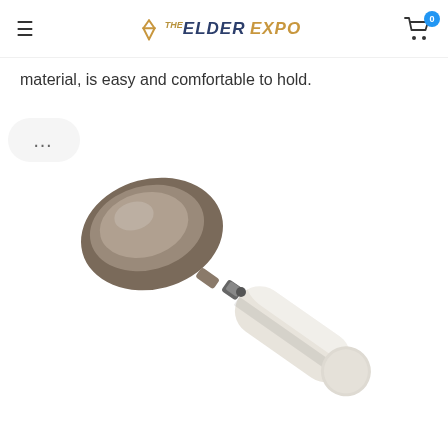THE ELDER EXPO
material, is easy and comfortable to hold.
[Figure (photo): An adaptive spoon with a large white cylindrical handle and a silver stainless steel spoon head, connected by a metal joint/swivel mechanism. The handle is thick and ergonomic, designed for people with limited grip strength.]